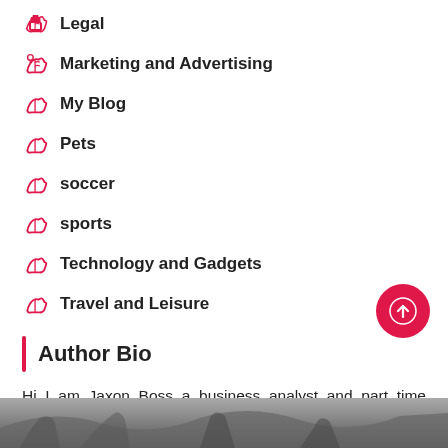Legal
Marketing and Advertising
My Blog
Pets
soccer
sports
Technology and Gadgets
Travel and Leisure
Author Bio
Hi I am Jaxon Boss a business analyst and part time blogger. I am crazy about gathering latest information around the world. I have started this blog to share my knowledge & experience.
[Figure (photo): Black and white photo of a person, partially visible at the bottom of the page]